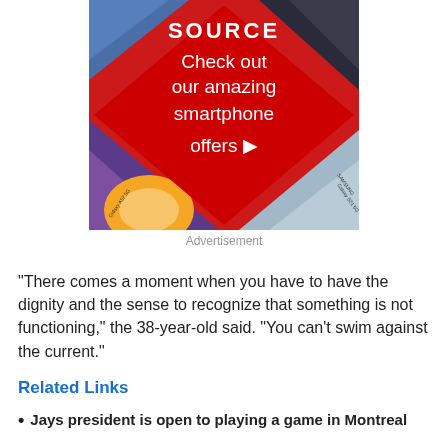[Figure (other): The Source advertisement banner showing smartphones and red diamond background with text 'Check out our amazing smartphone offers']
Advertisement
"There comes a moment when you have to have the dignity and the sense to recognize that something is not functioning," the 38-year-old said. "You can't swim against the current."
Related Links
Jays president is open to playing a game in Montreal